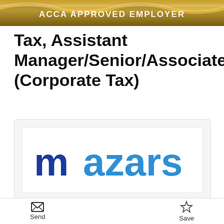ACCA APPROVED EMPLOYER
Tax, Assistant Manager/Senior/Associate (Corporate Tax)
[Figure (logo): Mazars company logo featuring the word 'mazars' in large blue sans-serif text with a dark blue stylized 'm' and lighter blue remaining letters]
Send  Save